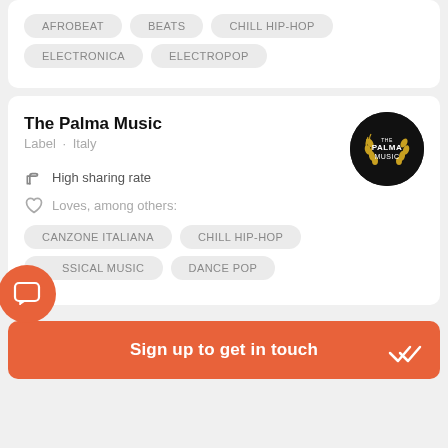AFROBEAT
BEATS
CHILL HIP-HOP
ELECTRONICA
ELECTROPOP
The Palma Music
Label · Italy
[Figure (logo): The Palma Music circular logo — black circle with gold laurel wreath and white text]
High sharing rate
Loves, among others:
CANZONE ITALIANA
CHILL HIP-HOP
CLASSICAL MUSIC
DANCE POP
Sign up to get in touch